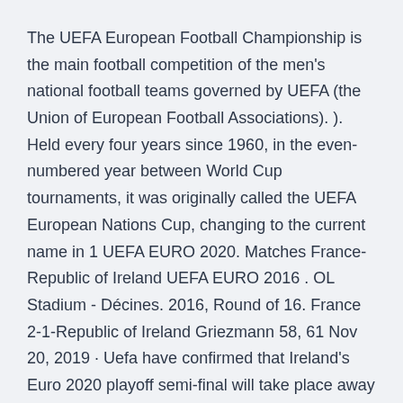The UEFA European Football Championship is the main football competition of the men's national football teams governed by UEFA (the Union of European Football Associations). ). Held every four years since 1960, in the even-numbered year between World Cup tournaments, it was originally called the UEFA European Nations Cup, changing to the current name in 1 UEFA EURO 2020. Matches France-Republic of Ireland UEFA EURO 2016 . OL Stadium - Décines. 2016, Round of 16. France 2-1-Republic of Ireland Griezmann 58, 61 Nov 20, 2019 · Uefa have confirmed that Ireland's Euro 2020 playoff semi-final will take place away to Slovakia on Thursday, March 26th.
Nov 30, 2019 · Sports Euro 2020: